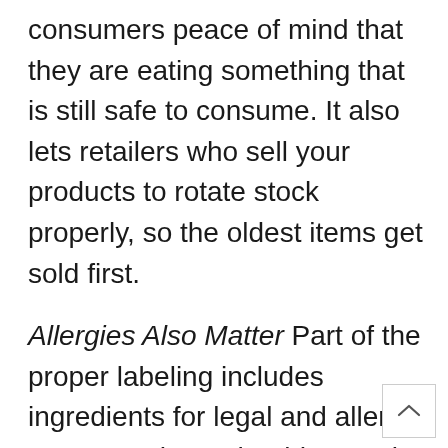consumers peace of mind that they are eating something that is still safe to consume. It also lets retailers who sell your products to rotate stock properly, so the oldest items get sold first.
Allergies Also Matter Part of the proper labeling includes ingredients for legal and allergy reasons. There should never be any surprises in your food that could trigger an allergic reaction. Given the range of allergies, the best way to avoid this is to ensure